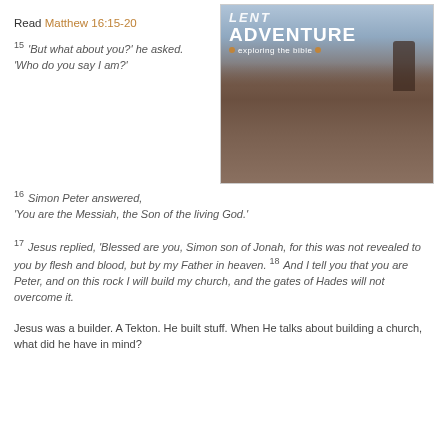Read Matthew 16:15-20
[Figure (illustration): Book cover or graphic for 'Lent Adventure - exploring the bible' showing a person standing on a rocky mountain top at sunset/dusk, with orange and blue sky]
15 'But what about you?' he asked. 'Who do you say I am?'
16 Simon Peter answered, 'You are the Messiah, the Son of the living God.'
17 Jesus replied, 'Blessed are you, Simon son of Jonah, for this was not revealed to you by flesh and blood, but by my Father in heaven. 18 And I tell you that you are Peter, and on this rock I will build my church, and the gates of Hades will not overcome it.
Jesus was a builder. A Tekton. He built stuff. When He talks about building a church, what did he have in mind?